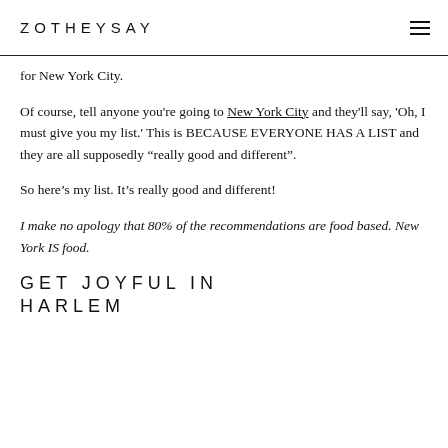ZOTHEYSAY
for New York City.
Of course, tell anyone you're going to New York City and they'll say, 'Oh, I must give you my list.' This is BECAUSE EVERYONE HAS A LIST and they are all supposedly “really good and different”.
So here’s my list. It’s really good and different!
I make no apology that 80% of the recommendations are food based. New York IS food.
GET JOYFUL IN HARLEM